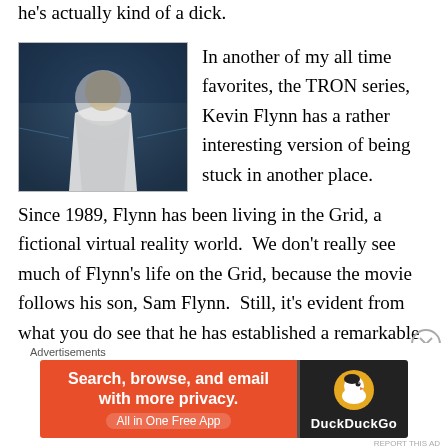he's actually kind of a dick.
[Figure (photo): A man in a white garment in a dark blue sci-fi environment, likely from the movie TRON: Legacy.]
In another of my all time favorites, the TRON series, Kevin Flynn has a rather interesting version of being stuck in another place. Since 1989, Flynn has been living in the Grid, a fictional virtual reality world. We don't really see much of Flynn's life on the Grid, because the movie follows his son, Sam Flynn. Still, it's evident from what you do see that he has established a remarkable life for himself there
[Figure (screenshot): DuckDuckGo advertisement banner: Search, browse, and email with more privacy. All in One Free App.]